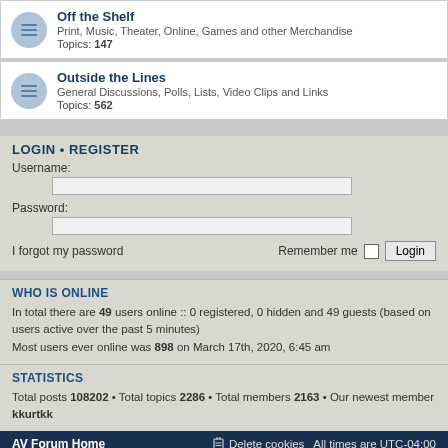Off the Shelf — Print, Music, Theater, Online, Games and other Merchandise — Topics: 147
Outside the Lines — General Discussions, Polls, Lists, Video Clips and Links — Topics: 562
LOGIN • REGISTER
Username:
Password:
I forgot my password
Remember me
WHO IS ONLINE
In total there are 49 users online :: 0 registered, 0 hidden and 49 guests (based on users active over the past 5 minutes)
Most users ever online was 898 on March 17th, 2020, 6:45 am
STATISTICS
Total posts 108202 • Total topics 2286 • Total members 2163 • Our newest member kkurtkk
AV Forum Home    Delete cookies    All times are UTC-04:00
Powered by phpBB® Forum Software © phpBB Limited